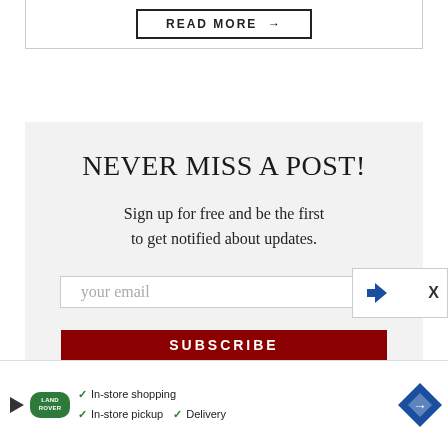READ MORE →
NEVER MISS A POST!
Sign up for free and be the first to get notified about updates.
your email
SUBSCRIBE
✓ In-store shopping  ✓ In-store pickup  ✓ Delivery